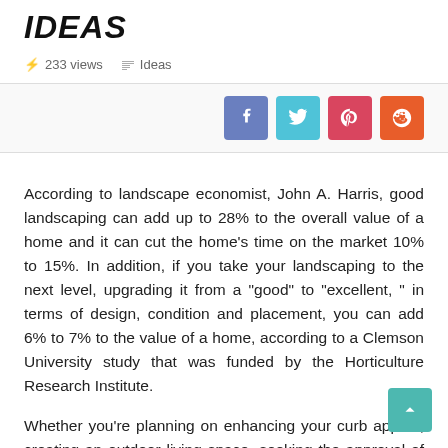IDEAS
⚡ 233 views  🗂 Ideas
According to landscape economist, John A. Harris, good landscaping can add up to 28% to the overall value of a home and it can cut the home's time on the market 10% to 15%. In addition, if you take your landscaping to the next level, upgrading it from a "good" to "excellent, " in terms of design, condition and placement, you can add 6% to 7% to the value of a home, according to a Clemson University study that was funded by the Horticulture Research Institute.
Whether you're planning on enhancing your curb appeal, creating an outdoor living space, seeking the approval of your homeowners association (HOA), or are simply wanting